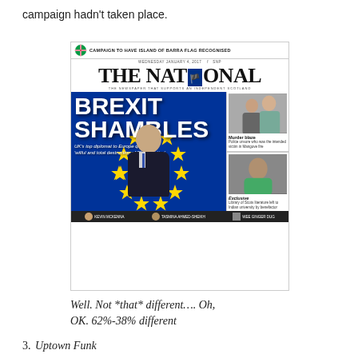campaign hadn't taken place.
[Figure (photo): Newspaper front page of 'The National' with headline 'BREXIT SHAMBLES' - UK's top diplomat to Europe quits amid 'wilful and total destruction of EU expertise'. Features EU flag with stars, photo of diplomat. Side stories: 'Murder blaze' and 'Exclusive: Library of Scots literature left to Indian university by benefactor'. Bottom bar shows Kevin McKenna, Tasmina Ahmed-Sheikh, Wee Ginger Dug.]
Well. Not *that* different…. Oh, OK. 62%-38% different
3.  Uptown Funk